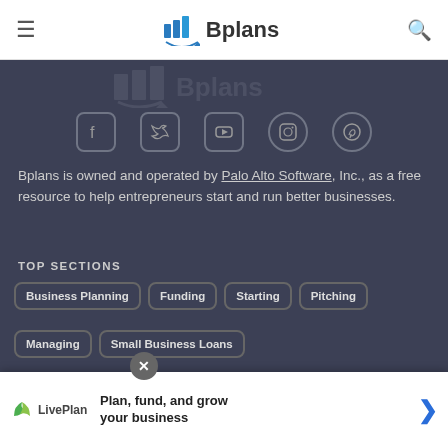Bplans navigation bar with hamburger menu and search icon
[Figure (logo): Bplans watermark logo in dark background area]
[Figure (infographic): Social media icons: Facebook, Twitter, YouTube, Instagram, Pinterest]
Bplans is owned and operated by Palo Alto Software, Inc., as a free resource to help entrepreneurs start and run better businesses.
TOP SECTIONS
Business Planning
Funding
Starting
Pitching
Managing
Small Business Loans
Angel Investment
Branding
PLANNING RESOURCES
Business Plan Software
Business Plan Template
Business Planning Calculator
[Figure (infographic): LivePlan advertisement overlay: Plan, fund, and grow your business]